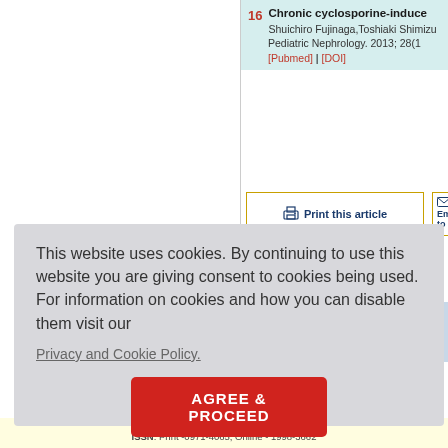16 Chronic cyclosporine-induced... Shuichiro Fujinaga, Toshiaki Shimizu... Pediatric Nephrology. 2013; 28(1... [Pubmed] | [DOI]
Print this article
Email... to y...
Notice
This website uses cookies. By continuing to use this website you are giving consent to cookies being used. For information on cookies and how you can disable them visit our
Privacy and Cookie Policy.
AGREE & PROCEED
ISSN: Print -0971-4065, Online - 1998-3662